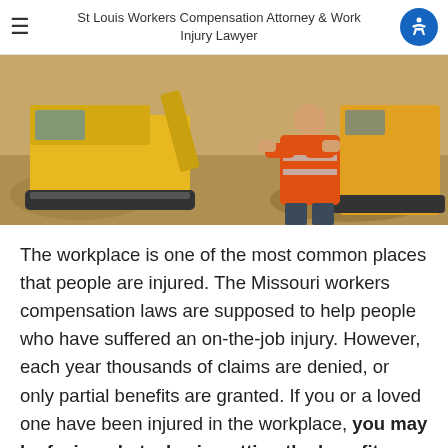St Louis Workers Compensation Attorney & Work Injury Lawyer
[Figure (photo): Construction worker in orange high-visibility vest standing in front of yellow excavator machinery at a construction site]
The workplace is one of the most common places that people are injured. The Missouri workers compensation laws are supposed to help people who have suffered an on-the-job injury. However, each year thousands of claims are denied, or only partial benefits are granted. If you or a loved one have been injured in the workplace, you may be facing obstacles in getting the benefits you and your family need to recover and move forward.